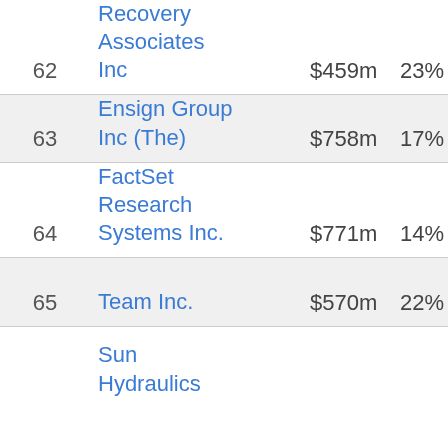| Rank | Company | Revenue | Growth |
| --- | --- | --- | --- |
| 62 | Recovery Associates Inc | $459m | 23% |
| 63 | Ensign Group Inc (The) | $758m | 17% |
| 64 | FactSet Research Systems Inc. | $771m | 14% |
| 65 | Team Inc. | $570m | 22% |
|  | Sun Hydraulics |  |  |